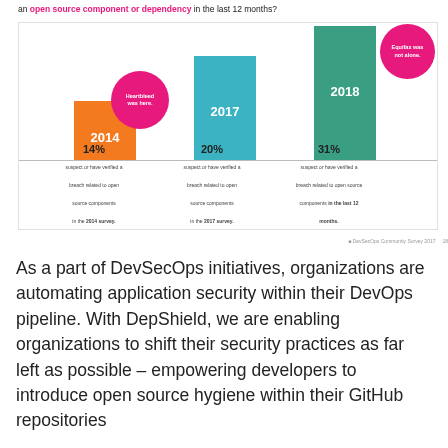[Figure (bar-chart): Breach related to open source component or dependency in the last 12 months]
DevSecOps Community Survey 2017   18
As a part of DevSecOps initiatives, organizations are automating application security within their DevOps pipeline. With DepShield, we are enabling organizations to shift their security practices as far left as possible – empowering developers to introduce open source hygiene within their GitHub repositories...